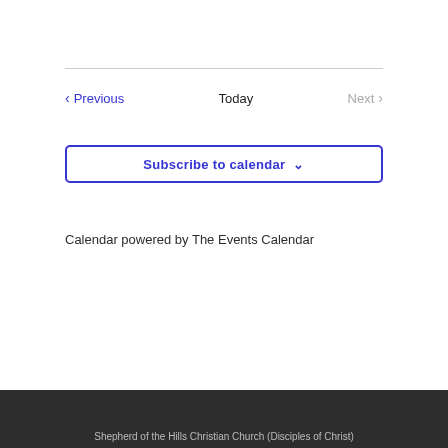Previous   Today   Next
Subscribe to calendar
Calendar powered by The Events Calendar
Shepherd of the Hills Christian Church (Disciples of Christ)